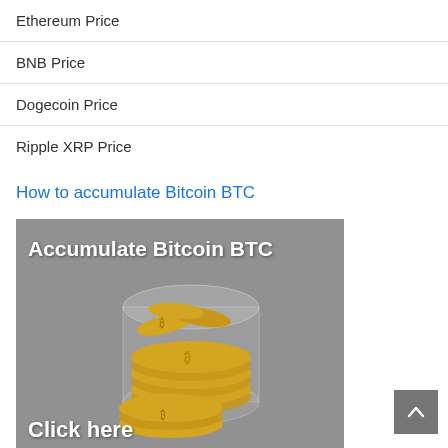Ethereum Price
BNB Price
Dogecoin Price
Ripple XRP Price
How to accumulate Bitcoin BTC
[Figure (photo): Photo showing a glass jar with Bitcoin BTC gold coins spilling out, with overlay text 'Accumulate Bitcoin BTC' at the top and 'Click here' at the bottom.]